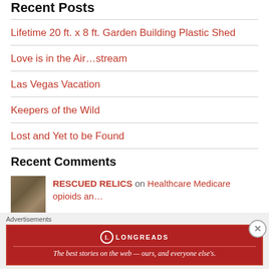Recent Posts
Lifetime 20 ft. x 8 ft. Garden Building Plastic Shed
Love is in the Air…stream
Las Vegas Vacation
Keepers of the Wild
Lost and Yet to be Found
Recent Comments
RESCUED RELICS on Healthcare Medicare opioids an…
Advertisements
[Figure (other): Longreads advertisement banner: The best stories on the web — ours, and everyone else's.]